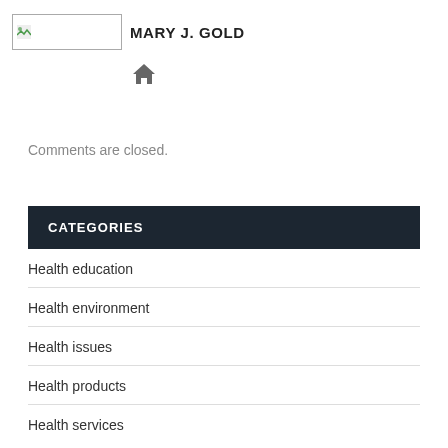MARY J. GOLD
[Figure (illustration): Home icon symbol]
Comments are closed.
CATEGORIES
Health education
Health environment
Health issues
Health products
Health services